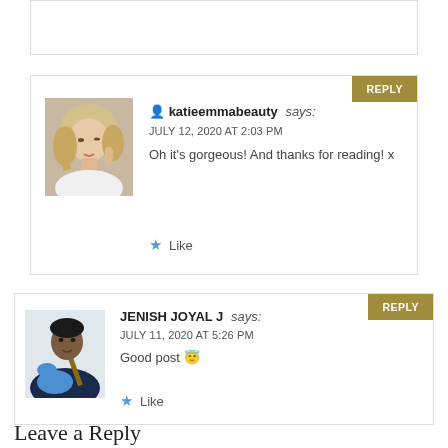[partial comment box, top of page]
katieemmabeauty says:
JULY 12, 2020 AT 2:03 PM
Oh it's gorgeous! And thanks for reading! x
Like
REPLY
JENISH JOYAL J says:
JULY 11, 2020 AT 5:26 PM
Good post 😇
Like
REPLY
Leave a Reply